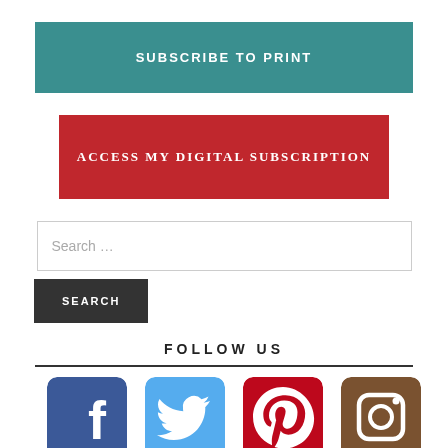SUBSCRIBE TO PRINT
ACCESS MY DIGITAL SUBSCRIPTION
Search …
SEARCH
FOLLOW US
[Figure (illustration): Four social media icons: Facebook (blue), Twitter (light blue), Pinterest (red), Instagram (brown/dark red)]